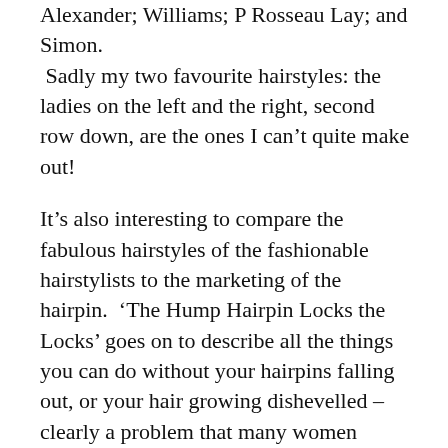Alexander; Williams; P Rosseau Lay; and Simon. Sadly my two favourite hairstyles: the ladies on the left and the right, second row down, are the ones I can't quite make out!
It's also interesting to compare the fabulous hairstyles of the fashionable hairstylists to the marketing of the hairpin. 'The Hump Hairpin Locks the Locks' goes on to describe all the things you can do without your hairpins falling out, or your hair growing dishevelled – clearly a problem that many women faced!
We sometimes think of women of the past looking like they stepped out of a bandbox, but with fine slippery hair, holding a fashionably loose hairstyle in place would have been tricky (even in the days when weekly shampooing was the norm).